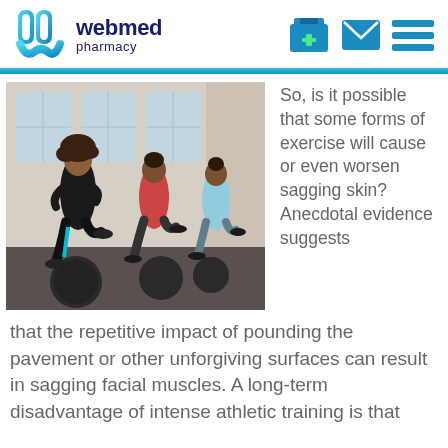[Figure (logo): WebMed Pharmacy logo with stylized blue W mark and text]
[Figure (photo): Three women doing high-knee exercise in a gym with medicine balls on the floor]
So, is it possible that some forms of exercise will cause or even worsen sagging skin? Anecdotal evidence suggests that the repetitive impact of pounding the pavement or other unforgiving surfaces can result in sagging facial muscles. A long-term disadvantage of intense athletic training is that
that the repetitive impact of pounding the pavement or other unforgiving surfaces can result in sagging facial muscles. A long-term disadvantage of intense athletic training is that